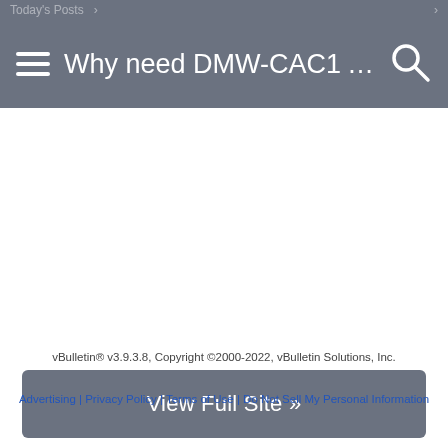Why need DMW-CAC1 AC pow...
View Full Site »
vBulletin® v3.9.3.8, Copyright ©2000-2022, vBulletin Solutions, Inc.
Advertising | Privacy Policy | Terms of Use | Do Not Sell My Personal Information